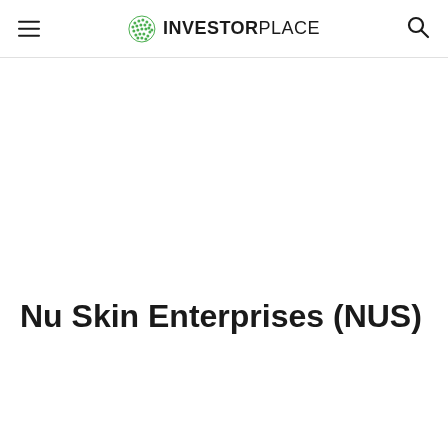INVESTORPLACE
Nu Skin Enterprises (NUS)